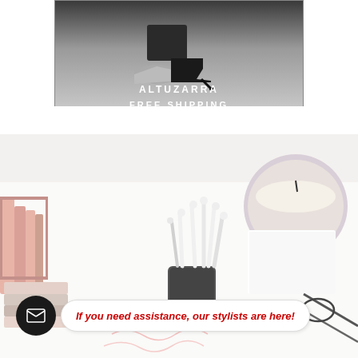[Figure (photo): Black and white fashion photo showing a model wearing high heels, with overlaid text 'ALTUZARRA' and 'FREE SHIPPING' on a gray background banner]
[Figure (photo): Flat lay lifestyle photo showing a desk with pink metal file organizer, stacked notebooks, a pencil holder with white pencils, a lavender candle, and glasses on a white surface]
If you need assistance, our stylists are here!